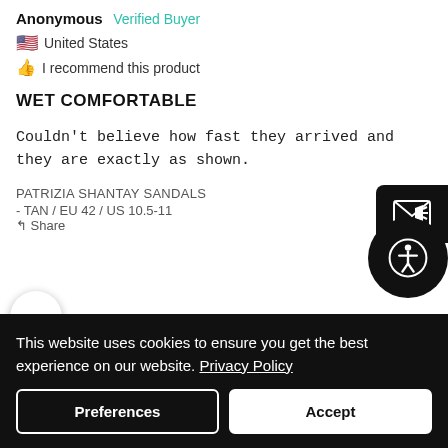Anonymous   Verified Buyer
🇺🇸 United States
👍 I recommend this product
WET COMFORTABLE
Couldn't believe how fast they arrived and they are exactly as shown.
PATRIZIA SHANTAY SANDALS
- TAN / EU 42 / US 10.5-11
Share
This website uses cookies to ensure you get the best experience on our website. Privacy Policy
Preferences
Accept